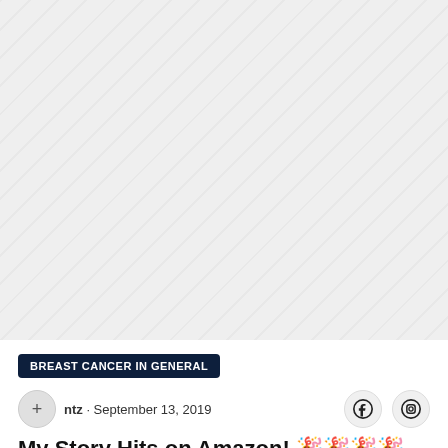[Figure (photo): Faded/washed-out background image, mostly light gray, occupying the top portion of the page]
BREAST CANCER IN GENERAL
ntz · September 13, 2019
My Story Hits on Amazon! 🎉🎉🎉🎉🎉🎉🎉